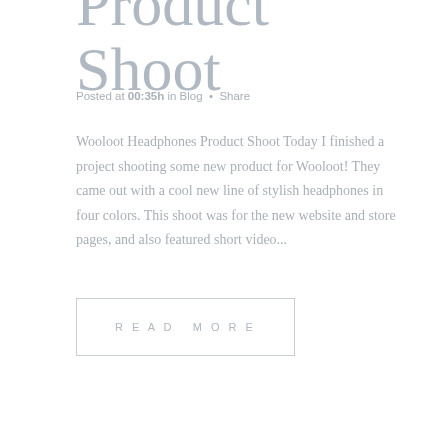Product Shoot
Posted at 00:35h in Blog • Share
Wooloot Headphones Product Shoot Today I finished a project shooting some new product for Wooloot! They came out with a cool new line of stylish headphones in four colors. This shoot was for the new website and store pages, and also featured short video...
READ MORE